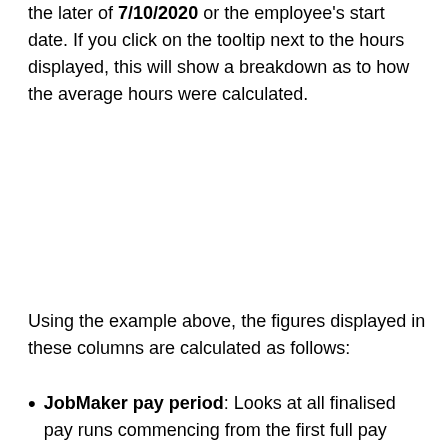the later of 7/10/2020 or the employee's start date. If you click on the tooltip next to the hours displayed, this will show a breakdown as to how the average hours were calculated.
Using the example above, the figures displayed in these columns are calculated as follows:
JobMaker pay period: Looks at all finalised pay runs commencing from the first full pay period on or after the later of 7/10/2020 or the